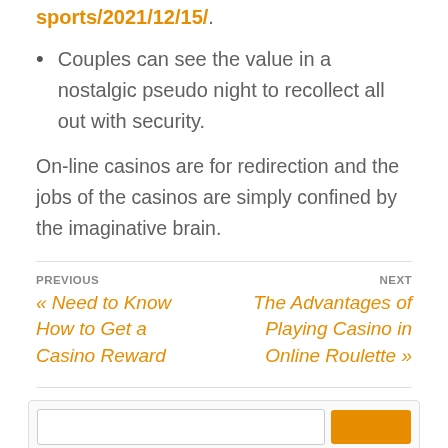sports/2021/12/15/.
Couples can see the value in a nostalgic pseudo night to recollect all out with security.
On-line casinos are for redirection and the jobs of the casinos are simply confined by the imaginative brain.
PREVIOUS
« Need to Know How to Get a Casino Reward
NEXT
The Advantages of Playing Casino in Online Roulette »